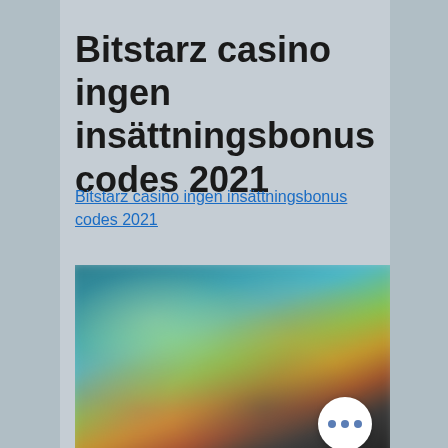Bitstarz casino ingen insättningsbonus codes 2021
Bitstarz casino ingen insättningsbonus codes 2021
[Figure (screenshot): Blurred screenshot of Bitstarz casino website showing game thumbnails and interface elements, with a three-dot menu button overlay in the bottom-right corner.]